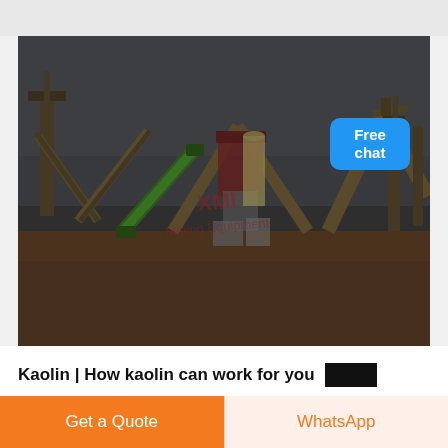[Figure (photo): Industrial mining/crushing plant machinery with large conveyor belts, metal frames, and processing equipment on a dirt field under a cloudy dark sky. A green conveyor belt is visible, along with red equipment. A watermark logo appears in the center of the image. A 'Free chat' blue button with a customer service representative illustration appears in the top-right corner overlay.]
Kaolin | How kaolin can work for you
Get a Quote
WhatsApp